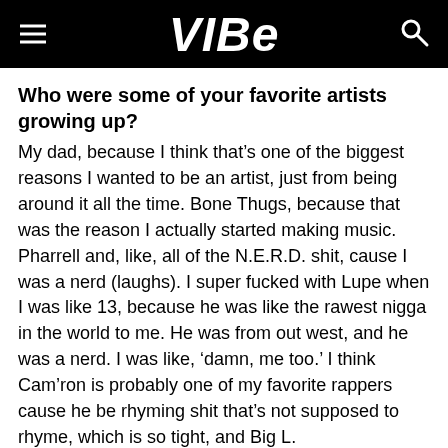VIBE
Who were some of your favorite artists growing up?
My dad, because I think that’s one of the biggest reasons I wanted to be an artist, just from being around it all the time. Bone Thugs, because that was the reason I actually started making music. Pharrell and, like, all of the N.E.R.D. shit, cause I was a nerd (laughs). I super fucked with Lupe when I was like 13, because he was like the rawest nigga in the world to me. He was from out west, and he was a nerd. I was like, ‘damn, me too.’ I think Cam’ron is probably one of my favorite rappers cause he be rhyming shit that’s not supposed to rhyme, which is so tight, and Big L.